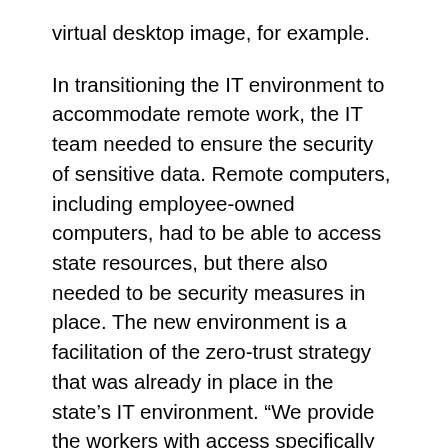virtual desktop image, for example.
In transitioning the IT environment to accommodate remote work, the IT team needed to ensure the security of sensitive data. Remote computers, including employee-owned computers, had to be able to access state resources, but there also needed to be security measures in place. The new environment is a facilitation of the zero-trust strategy that was already in place in the state’s IT environment. “We provide the workers with access specifically to the resources they’re supposed to have–on their PCs. It’s a kind of zero trust implementation against unforeseeable challengers,” Ford notes.
“Thanks to Citrix and our entire team of